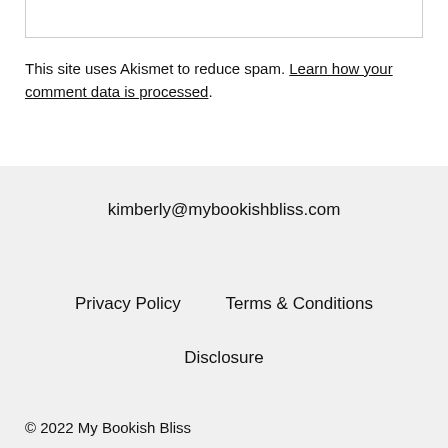This site uses Akismet to reduce spam. Learn how your comment data is processed.
kimberly@mybookishbliss.com
Privacy Policy   Terms & Conditions
Disclosure
© 2022 My Bookish Bliss